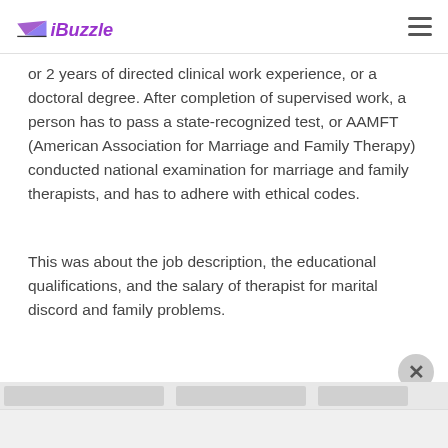iBuzzle
or 2 years of directed clinical work experience, or a doctoral degree. After completion of supervised work, a person has to pass a state-recognized test, or AAMFT (American Association for Marriage and Family Therapy) conducted national examination for marriage and family therapists, and has to adhere with ethical codes.
This was about the job description, the educational qualifications, and the salary of therapist for marital discord and family problems.